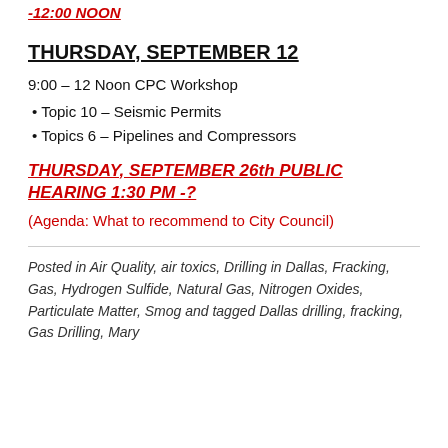-12:00 NOON
THURSDAY, SEPTEMBER 12
9:00 – 12 Noon CPC Workshop
Topic 10 – Seismic Permits
Topics 6 – Pipelines and Compressors
THURSDAY, SEPTEMBER 26th PUBLIC HEARING 1:30 PM -?
(Agenda: What to recommend to City Council)
Posted in Air Quality, air toxics, Drilling in Dallas, Fracking, Gas, Hydrogen Sulfide, Natural Gas, Nitrogen Oxides, Particulate Matter, Smog and tagged Dallas drilling, fracking, Gas Drilling, Mary